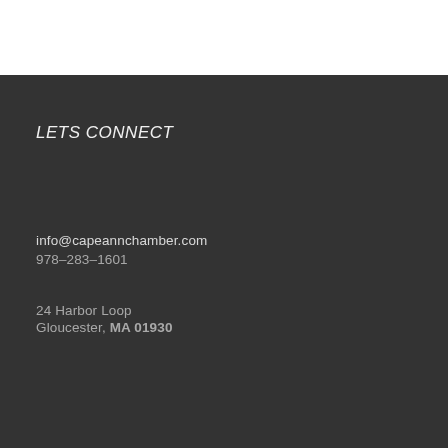LETS CONNECT
info@capeannchamber.com
978-283-1601
24 Harbor Loop
Gloucester, MA 01930